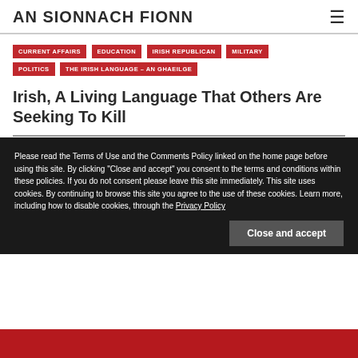AN SIONNACH FIONN
CURRENT AFFAIRS
EDUCATION
IRISH REPUBLICAN
MILITARY
POLITICS
THE IRISH LANGUAGE – AN GHAEILGE
Irish, A Living Language That Others Are Seeking To Kill
OCTOBER 6, 2016
Please read the Terms of Use and the Comments Policy linked on the home page before using this site. By clicking "Close and accept" you consent to the terms and conditions within these policies. If you do not consent please leave this site immediately. This site uses cookies. By continuing to browse this site you agree to the use of these cookies. Learn more, including how to disable cookies, through the Privacy Policy
Close and accept